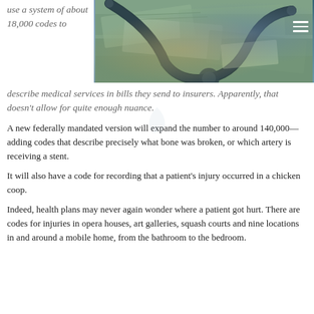use a system of about 18,000 codes to describe medical services in bills they send to insurers. Apparently, that doesn't allow for quite enough nuance.
[Figure (photo): Close-up photo of a stethoscope resting on US dollar bills, with a hamburger menu icon in the top right corner overlay.]
A new federally mandated version will expand the number to around 140,000—adding codes that describe precisely what bone was broken, or which artery is receiving a stent.
It will also have a code for recording that a patient's injury occurred in a chicken coop.
Indeed, health plans may never again wonder where a patient got hurt. There are codes for injuries in opera houses, art galleries, squash courts and nine locations in and around a mobile home, from the bathroom to the bedroom.